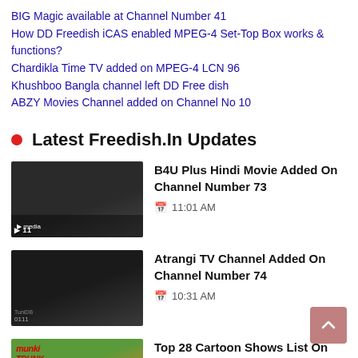BIG Magic available at Channel Number 41
How DD Freedish iCAS enabled MPEG-4 Set-Top Box works & functions?
Chardikla Time TV added on MPEG-4 LCN 96
Khushboo Bangla channel left DD Free dish
ABZY Movies Channel added on Channel No 10
Latest Freedish.In Updates
[Figure (photo): Thumbnail image for B4U Plus Hindi Movie article, dark scene]
B4U Plus Hindi Movie Added On Channel Number 73
11:01 AM
[Figure (photo): Thumbnail image for Atrangi TV Channel article, dark scene]
Atrangi TV Channel Added On Channel Number 74
10:31 AM
[Figure (photo): Thumbnail image for Top 28 Cartoon Shows article, colorful cartoon with elephant]
Top 28 Cartoon Shows List On Various TV Channels
11:22 PM